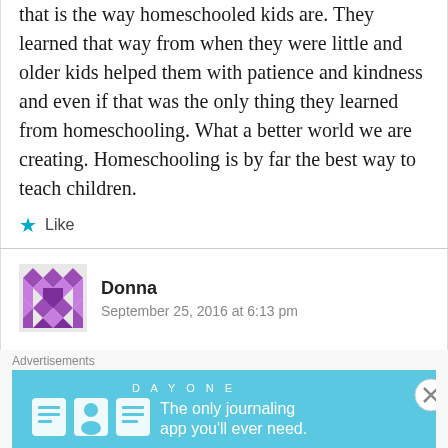that is the way homeschooled kids are. They learned that way from when they were little and older kids helped them with patience and kindness and even if that was the only thing they learned from homeschooling. What a better world we are creating. Homeschooling is by far the best way to teach children.
Like
Donna
September 25, 2016 at 6:13 pm
We have many options here in medium-sized town South Louisiana. There are multiple
Advertisements
[Figure (screenshot): Day One journaling app advertisement banner with teal background, app icons, and tagline 'The only journaling app you'll ever need.']